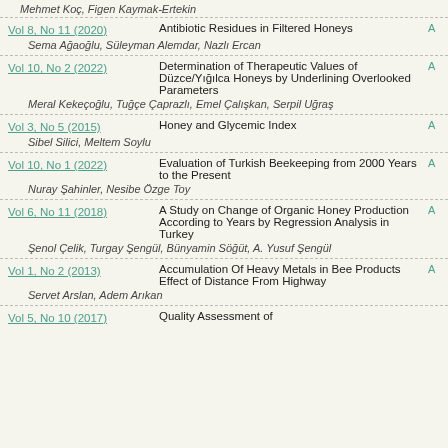Mehmet Koç, Figen Kaymak-Ertekin
Vol 8, No 11 (2020) | Antibiotic Residues in Filtered Honeys
Sema Ağaoğlu, Süleyman Alemdar, Nazlı Ercan
Vol 10, No 2 (2022) | Determination of Therapeutic Values of Düzce/Yığılca Honeys by Underlining Overlooked Parameters
Meral Kekeçoğlu, Tuğçe Çaprazlı, Emel Çalışkan, Serpil Uğraş
Vol 3, No 5 (2015) | Honey and Glycemic Index
Sibel Silici, Meltem Soylu
Vol 10, No 1 (2022) | Evaluation of Turkish Beekeeping from 2000 Years to the Present
Nuray Şahinler, Nesibe Özge Toy
Vol 6, No 11 (2018) | A Study on Change of Organic Honey Production According to Years by Regression Analysis in Turkey
Şenol Çelik, Turgay Şengül, Bünyamin Söğüt, A. Yusuf Şengül
Vol 1, No 2 (2013) | Accumulation Of Heavy Metals in Bee Products Effect of Distance From Highway
Servet Arslan, Adem Arıkan
Vol 5, No 10 (2017) | Quality Assessment of